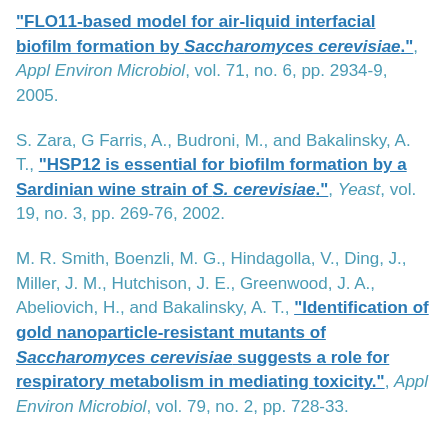"FLO11-based model for air-liquid interfacial biofilm formation by Saccharomyces cerevisiae.", Appl Environ Microbiol, vol. 71, no. 6, pp. 2934-9, 2005.
S. Zara, G Farris, A., Budroni, M., and Bakalinsky, A. T., "HSP12 is essential for biofilm formation by a Sardinian wine strain of S. cerevisiae.", Yeast, vol. 19, no. 3, pp. 269-76, 2002.
M. R. Smith, Boenzli, M. G., Hindagolla, V., Ding, J., Miller, J. M., Hutchison, J. E., Greenwood, J. A., Abeliovich, H., and Bakalinsky, A. T., "Identification of gold nanoparticle-resistant mutants of Saccharomyces cerevisiae suggests a role for respiratory metabolism in mediating toxicity.", Appl Environ Microbiol, vol. 79, no. 2, pp. 728-33.